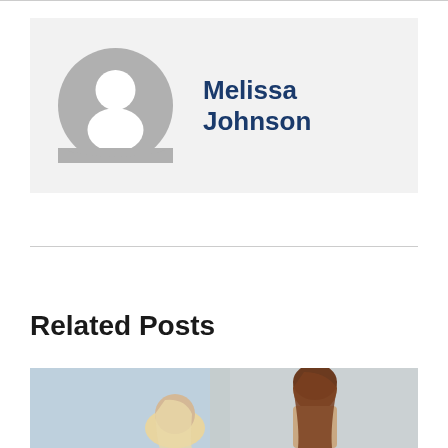[Figure (illustration): Circular grey avatar/profile placeholder icon with a white silhouette of a person]
Melissa Johnson
Related Posts
[Figure (photo): Photo of two women, one with brown hair looking down, in a blurred office/café background]